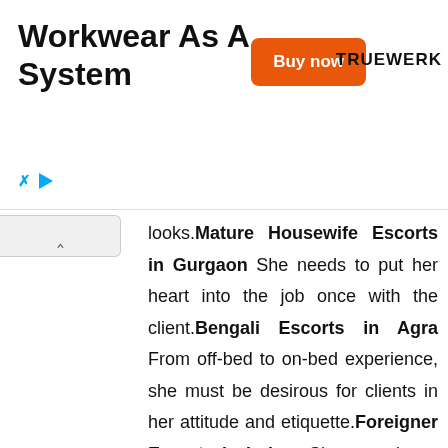[Figure (other): Advertisement banner for Truewerk workwear with 'Workwear As A System' title, orange 'Buy now' button, and Truewerk logo]
looks.Mature Housewife Escorts in Gurgaon She needs to put her heart into the job once with the client.Bengali Escorts in Agra From off-bed to on-bed experience, she must be desirous for clients in her attitude and etiquette.Foreigner Escorts in Indore She must know that the grand finale is set on the client's Foreigner Escorts in Haridwar bed and she must perform the moves that steal the heart of the client. Any girl can become a Foreigner Escorts in